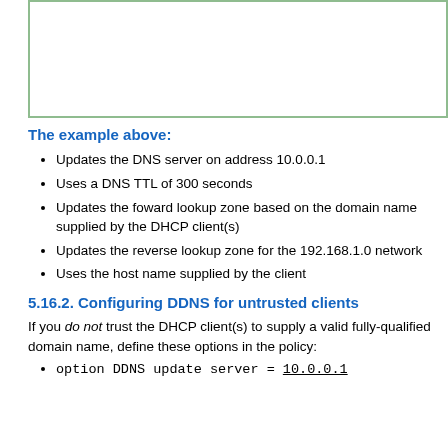[Figure (other): Code box with green border — top portion cut off, showing empty white space inside a bordered container]
The example above:
Updates the DNS server on address 10.0.0.1
Uses a DNS TTL of 300 seconds
Updates the foward lookup zone based on the domain name supplied by the DHCP client(s)
Updates the reverse lookup zone for the 192.168.1.0 network
Uses the host name supplied by the client
5.16.2. Configuring DDNS for untrusted clients
If you do not trust the DHCP client(s) to supply a valid fully-qualified domain name, define these options in the policy:
option DDNS update server = 10.0.0.1